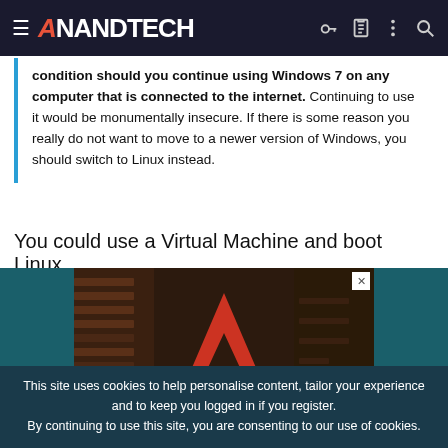AnandTech
condition should you continue using Windows 7 on any computer that is connected to the internet. Continuing to use it would be monumentally insecure. If there is some reason you really do not want to move to a newer version of Windows, you should switch to Linux instead.
You could use a Virtual Machine and boot Linux
[Figure (other): Ampere advertisement banner with Ampere logo (orange/red triangle A) on dark background with text AMPERE.]
This site uses cookies to help personalise content, tailor your experience and to keep you logged in if you register. By continuing to use this site, you are consenting to our use of cookies.